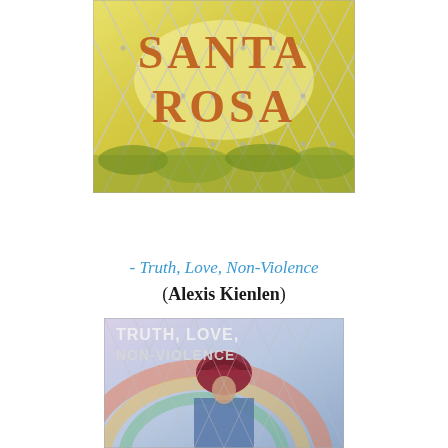[Figure (illustration): Book cover of 'Santa Rosa' showing chain-link fence with yellow-green foliage background. Text 'SANTA ROSA' in large orange/brown serif letters.]
- Truth, Love, Non-Violence
(Alexis Kienlen)
[Figure (illustration): Book cover of 'Truth, Love, Non-Violence' showing text in white letters over an image of a person wearing a dark red turban, with colorful background.]